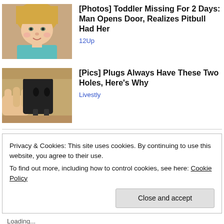[Figure (photo): Photo of a young toddler girl with blonde hair and a teal shirt, smiling slightly.]
[Photos] Toddler Missing For 2 Days: Man Opens Door, Realizes Pitbull Had Her
12Up
[Figure (photo): Photo of a hand holding a black electrical plug close-up.]
[Pics] Plugs Always Have These Two Holes, Here's Why
Livestly
Privacy & Cookies: This site uses cookies. By continuing to use this website, you agree to their use.
To find out more, including how to control cookies, see here: Cookie Policy
Close and accept
Loading...